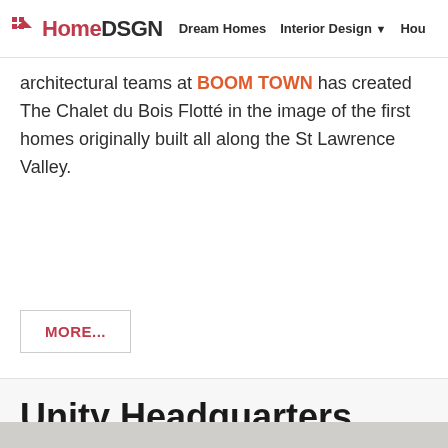HomeDSGN | Dream Homes | Interior Design | Hou
architectural teams at BOOM TOWN has created The Chalet du Bois Flotté in the image of the first homes originally built all along the St Lawrence Valley.
MORE...
Unity Headquarters by Rapt Studio
BY COURTNEY · MAY 28, 2019